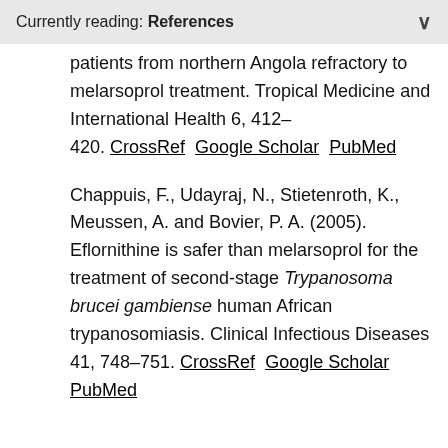Currently reading: References
patients from northern Angola refractory to melarsoprol treatment. Tropical Medicine and International Health 6, 412–420. CrossRef  Google Scholar  PubMed
Chappuis, F., Udayraj, N., Stietenroth, K., Meussen, A. and Bovier, P. A. (2005). Eflornithine is safer than melarsoprol for the treatment of second-stage Trypanosoma brucei gambiense human African trypanosomiasis. Clinical Infectious Diseases 41, 748–751. CrossRef  Google Scholar  PubMed